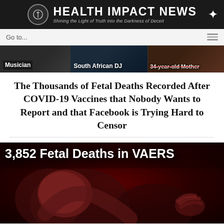HEALTH IMPACT NEWS — Shining the Light of Truth into the Darkness of Deceit
[Figure (screenshot): Navigation bar with 'Go to...' dropdown and hamburger menu icon]
[Figure (screenshot): Banner strip with three news thumbnails labeled: Musician, South African DJ, 34-year-old Mother]
The Thousands of Fetal Deaths Recorded After COVID-19 Vaccines that Nobody Wants to Report and that Facebook is Trying Hard to Censor
[Figure (photo): Red-toned image of fetus with text overlay reading '3,852 Fetal Deaths in VAERS']